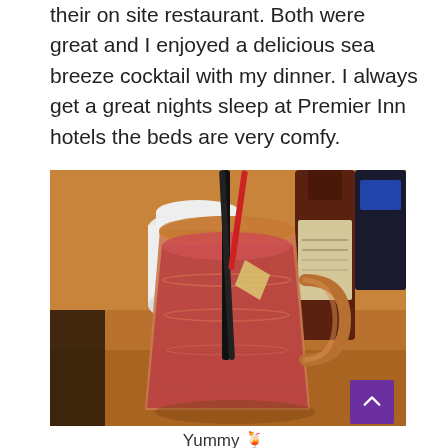their on site restaurant. Both were great and I enjoyed a delicious sea breeze cocktail with my dinner. I always get a great nights sleep at Premier Inn hotels the beds are very comfy.
[Figure (photo): A mason jar mug filled with a red/pink sea breeze cocktail with a black straw and ice, sitting on a wooden table. A white salt shaker and a wine bottle are visible in the background.]
Yummy 🍹